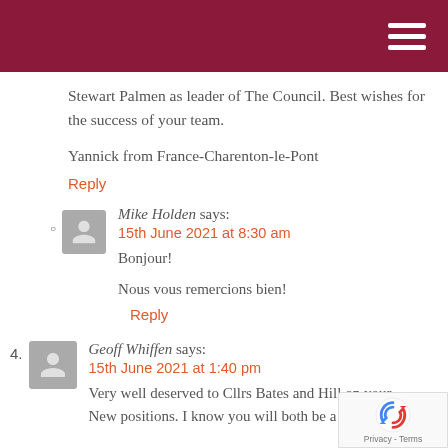[Navigation header bar with hamburger menu]
Stewart Palmen as leader of The Council. Best wishes for the success of your team.
Yannick from France-Charenton-le-Pont
Reply
Mike Holden says: 15th June 2021 at 8:30 am
Bonjour!

Nous vous remercions bien!
Reply
4. Geoff Whiffen says: 15th June 2021 at 1:40 pm
Very well deserved to Cllrs Bates and Hill on your new positions. I know you will both be a credit to the